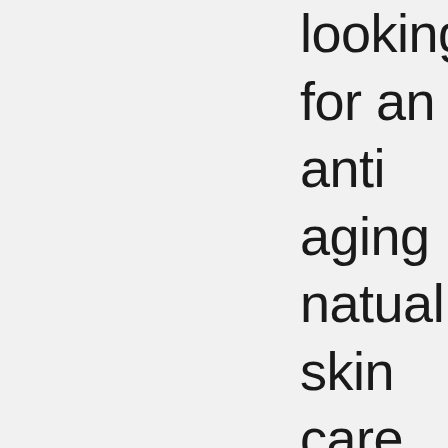looking for an anti aging natual skin care system. There are a few of you